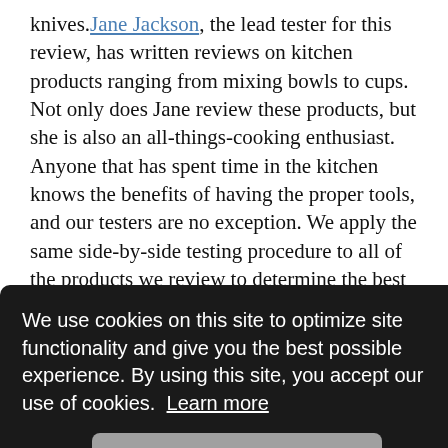knives. Jane Jackson, the lead tester for this review, has written reviews on kitchen products ranging from mixing bowls to cups. Not only does Jane review these products, but she is also an all-things-cooking enthusiast. Anyone that has spent time in the kitchen knows the benefits of having the proper tools, and our testers are no exception. We apply the same side-by-side testing procedure to all of the products we review to determine the best options on the market.
[Figure (screenshot): Cookie consent overlay on dark background with message: 'We use cookies on this site to optimize site functionality and give you the best possible experience. By using this site, you accept our use of cookies. Learn more' and a 'Got it!' button.]
testing. We filled, cleaned, and seasoned our meals with